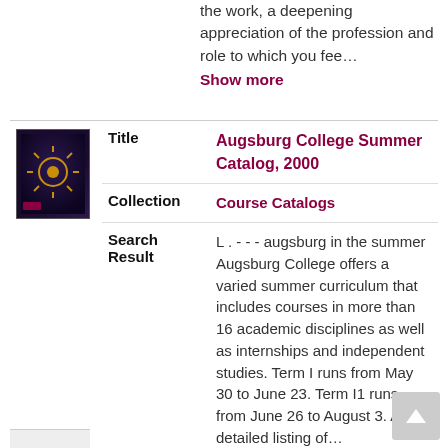the work, a deepening appreciation of the profession and role to which you fee…
Show more
| Field | Value |
| --- | --- |
| Title | Augsburg College Summer Catalog, 2000 |
| Collection | Course Catalogs |
| Search Result | L . - - - augsburg in the summer Augsburg College offers a varied summer curriculum that includes courses in more than 16 academic disciplines as well as internships and independent studies. Term I runs from May 30 to June 23. Term I1 runs from June 26 to August 3. A detailed listing of… |
Show more